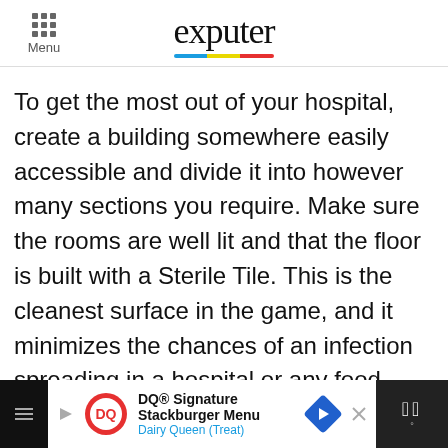Menu | exputer
To get the most out of your hospital, create a building somewhere easily accessible and divide it into however many sections you require. Make sure the rooms are well lit and that the floor is built with a Sterile Tile. This is the cleanest surface in the game, and it minimizes the chances of an infection spreading in a hospital or any food preparation area.
[Figure (other): Advertisement banner: DQ® Signature Stackburger Menu - Dairy Queen (Treat) with navigation arrow icon]